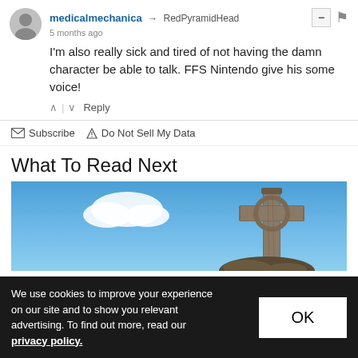medicalmechanica → RedPyramidHead
5 months ago
I'm also really sick and tired of not having the damn character be able to talk. FFS Nintendo give his some voice!
↑ | ↓  Reply
✉ Subscribe  ▲ Do Not Sell My Data
What To Read Next
[Figure (photo): Photo of a stone Celtic cross against a blue sky with clouds]
We use cookies to improve your experience on our site and to show you relevant advertising. To find out more, read our privacy policy.